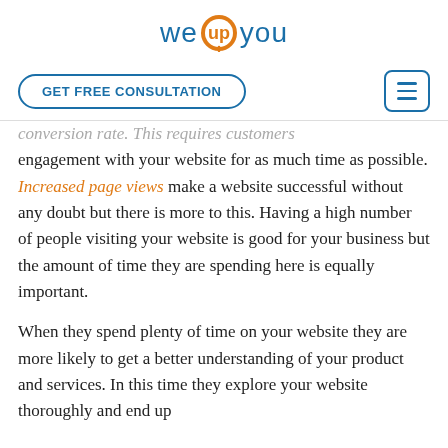[Figure (logo): we(up)you logo with orange circular icon in the middle]
GET FREE CONSULTATION | menu icon
conversion rate. This requires customers engagement with your website for as much time as possible. Increased page views make a website successful without any doubt but there is more to this. Having a high number of people visiting your website is good for your business but the amount of time they are spending here is equally important.
When they spend plenty of time on your website they are more likely to get a better understanding of your product and services. In this time they explore your website thoroughly and end up